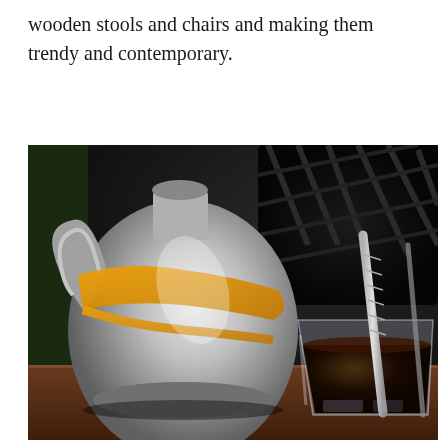wooden stools and chairs and making them trendy and contemporary.
[Figure (photo): Close-up photograph of a silver metallic coffee pot/jebena with yellow rubber band around it, alongside a glass of dark coffee with a metal straw, set on a wooden surface with dark background.]